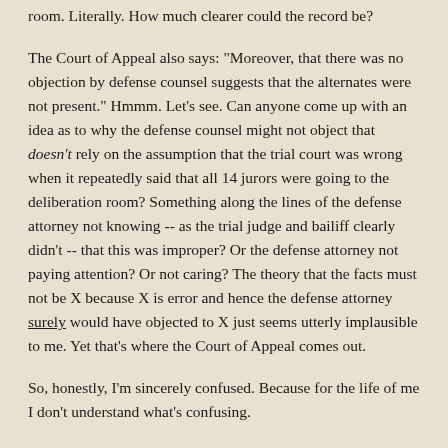room.  Literally.  How much clearer could the record be?
The Court of Appeal also says:  "Moreover, that there was no objection by defense counsel suggests that the alternates were not present."  Hmmm.  Let's see.  Can anyone come up with an idea as to why the defense counsel might not object that doesn't rely on the assumption that the trial court was wrong when it repeatedly said that all 14 jurors were going to the deliberation room?  Something along the lines of the defense attorney not knowing -- as the trial judge and bailiff clearly didn't -- that this was improper?  Or the defense attorney not paying attention?  Or not caring?  The theory that the facts must not be X because X is error and hence the defense attorney surely would have objected to X just seems utterly implausible to me.  Yet that's where the Court of Appeal comes out.
So, honestly, I'm sincerely confused.  Because for the life of me I don't understand what's confusing.
Look, as to whether this constitutes reversible error, on that point, I'm admittedly open.  Seems to me that there's a pretty good likelihood of an argument one way or the other.